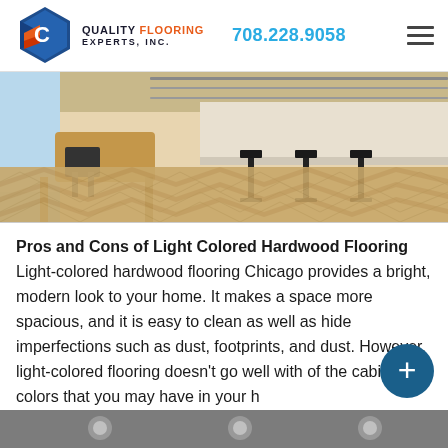[Figure (logo): Quality Flooring Experts Inc. hexagon logo with blue and red colors, company name and phone number 708.228.9058]
[Figure (photo): Interior room with light-colored chevron pattern hardwood flooring, wooden desk and bar stools visible]
Pros and Cons of Light Colored Hardwood Flooring Light-colored hardwood flooring Chicago provides a bright, modern look to your home. It makes a space more spacious, and it is easy to clean as well as hide imperfections such as dust, footprints, and dust. However, light-colored flooring doesn't go well with of the cabinetry colors that you may have in your h
[Figure (photo): Bottom strip showing partial view of another room with recessed lighting]